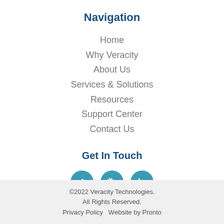Navigation
Home
Why Veracity
About Us
Services & Solutions
Resources
Support Center
Contact Us
Get In Touch
[Figure (other): Three social media icons: Facebook, Twitter, LinkedIn — circular teal buttons]
©2022 Veracity Technologies. All Rights Reserved. Privacy Policy   Website by Pronto